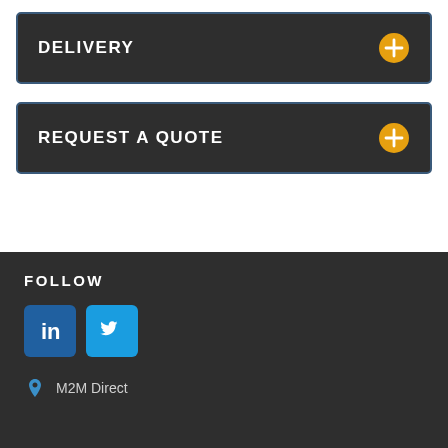DELIVERY
REQUEST A QUOTE
FOLLOW
[Figure (logo): LinkedIn and Twitter social media icon buttons (blue square icons with white logos)]
M2M Direct